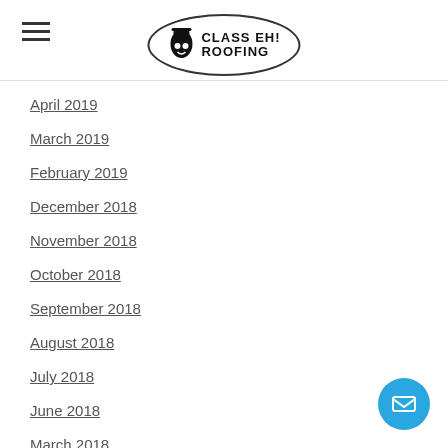Class Eh! Roofing logo and hamburger menu
April 2019
March 2019
February 2019
December 2018
November 2018
October 2018
September 2018
August 2018
July 2018
June 2018
March 2018
February 2018
January 2018
December 2017